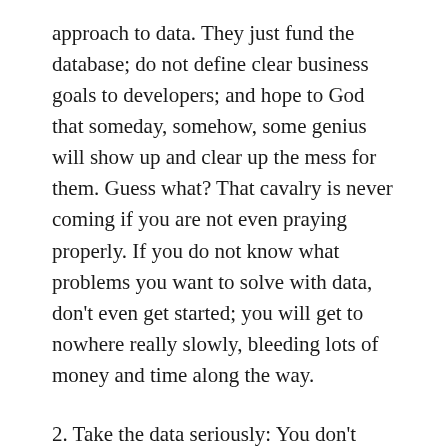approach to data. They just fund the database; do not define clear business goals to developers; and hope to God that someday, somehow, some genius will show up and clear up the mess for them. Guess what? That cavalry is never coming if you are not even praying properly. If you do not know what problems you want to solve with data, don't even get started; you will get to nowhere really slowly, bleeding lots of money and time along the way.
2. Take the data seriously: You don't have to be a scientist to have a scientific mind. It is not ideal if someone blindly subscribes anything computers spew out (there are lots of inaccurate information in databases; refer to